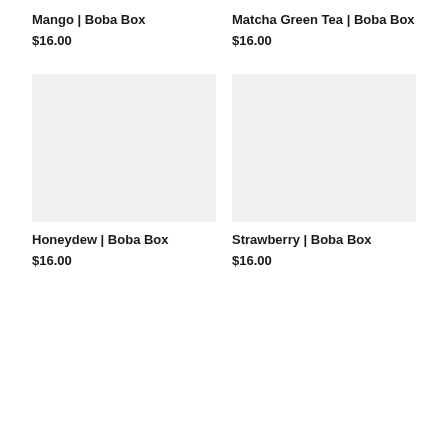Mango | Boba Box
$16.00
Matcha Green Tea | Boba Box
$16.00
[Figure (other): Product image placeholder for Honeydew | Boba Box]
[Figure (other): Product image placeholder for Strawberry | Boba Box]
Honeydew | Boba Box
$16.00
Strawberry | Boba Box
$16.00